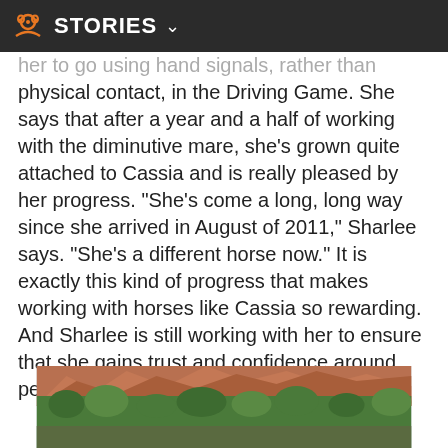STORIES
her to go using hand signals, rather than physical contact, in the Driving Game. She says that after a year and a half of working with the diminutive mare, she's grown quite attached to Cassia and is really pleased by her progress. "She's come a long, long way since she arrived in August of 2011," Sharlee says. "She's a different horse now." It is exactly this kind of progress that makes working with horses like Cassia so rewarding. And Sharlee is still working with her to ensure that she gains trust and confidence around people, and thus becomes more adoptable.
[Figure (photo): Landscape photo showing red rock formations and green trees/shrubs in what appears to be a desert or canyon environment.]